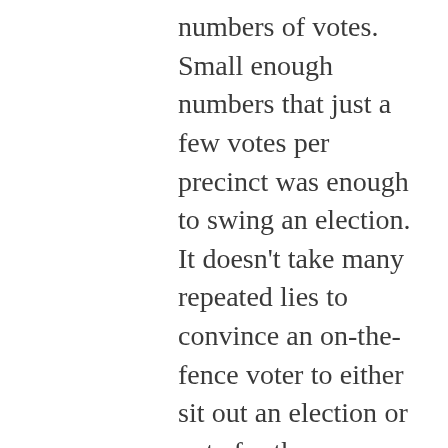numbers of votes. Small enough numbers that just a few votes per precinct was enough to swing an election. It doesn't take many repeated lies to convince an on-the-fence voter to either sit out an election or vote for the opposition. Unfortunately, the electorate is highly manipulable. Just look at the effectiveness of the attacks on Tulsi Gabbard. Any time her name is mentioned, there's now at least a 10:1 ratio of those who think she's horrible and repeat the smears to those who understand her true positions and respect her and try to defend her. This is largely media